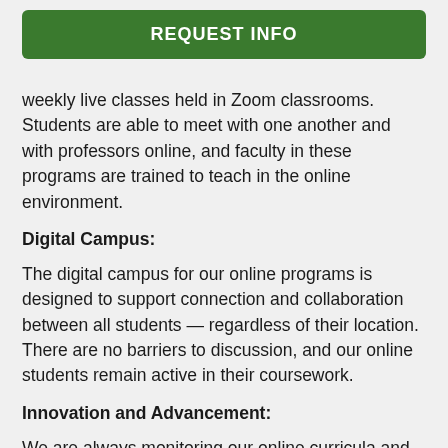[Figure (other): Green button labeled REQUEST INFO]
weekly live classes held in Zoom classrooms. Students are able to meet with one another and with professors online, and faculty in these programs are trained to teach in the online environment.
Digital Campus:
The digital campus for our online programs is designed to support connection and collaboration between all students — regardless of their location. There are no barriers to discussion, and our online students remain active in their coursework.
Innovation and Advancement:
We are always monitoring our online curricula and technology to ensure the most rigorous and engaging experience for students. Our technology partner remains